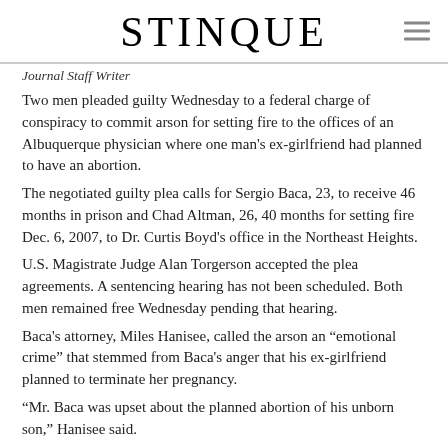STINQUE
Journal Staff Writer
Two men pleaded guilty Wednesday to a federal charge of conspiracy to commit arson for setting fire to the offices of an Albuquerque physician where one man's ex-girlfriend had planned to have an abortion.
The negotiated guilty plea calls for Sergio Baca, 23, to receive 46 months in prison and Chad Altman, 26, 40 months for setting fire Dec. 6, 2007, to Dr. Curtis Boyd's office in the Northeast Heights.
U.S. Magistrate Judge Alan Torgerson accepted the plea agreements. A sentencing hearing has not been scheduled. Both men remained free Wednesday pending that hearing.
Baca's attorney, Miles Hanisee, called the arson an “emotional crime” that stemmed from Baca's anger that his ex-girlfriend planned to terminate her pregnancy.
“Mr. Baca was upset about the planned abortion of his unborn son,” Hanisee said.
Baca had learned of the planned abortion the day before the